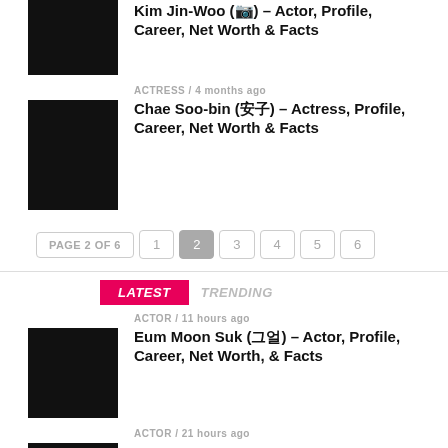[Figure (photo): Thumbnail image placeholder black]
ACTRESS / 4 months ago
Chae Soo-bin (채수빈) – Actress, Profile, Career, Net Worth & Facts
PAGE 2 OF 6  1  2  3  4  5  6
LATEST  TRENDING
ACTOR / 11 hours ago
Eum Moon Suk (음문석) – Actor, Profile, Career, Net Worth, & Facts
ACTOR / 21 hours ago